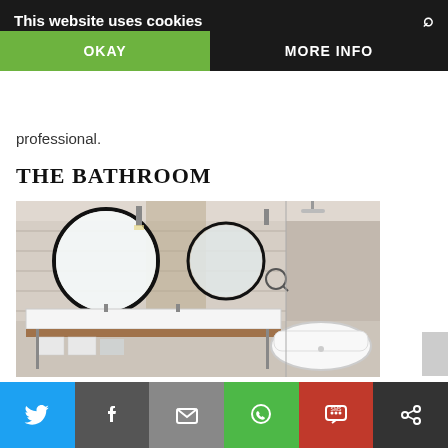This website uses cookies
nowned wellness
OKAY    MORE INFO
professional.
THE BATHROOM
[Figure (photo): Modern bathroom with two round mirrors above a double vanity sink with wooden shelf and folded towels, and a freestanding white oval bathtub. Walls are light grey/beige tile.]
However, the star of the show and
Twitter | Facebook | Email | WhatsApp | SMS | Other share icons